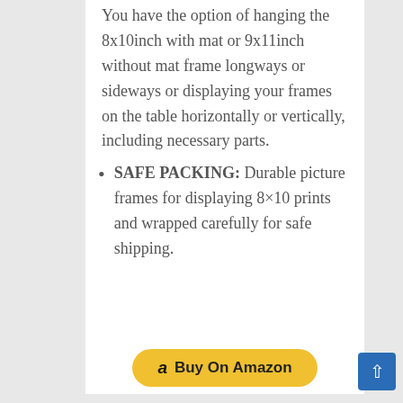You have the option of hanging the 8x10inch with mat or 9x11inch without mat frame longways or sideways or displaying your frames on the table horizontally or vertically, including necessary parts.
SAFE PACKING: Durable picture frames for displaying 8×10 prints and wrapped carefully for safe shipping.
[Figure (other): Buy On Amazon button with Amazon logo]
[Figure (other): Scroll to top button (blue square with white upward arrow)]